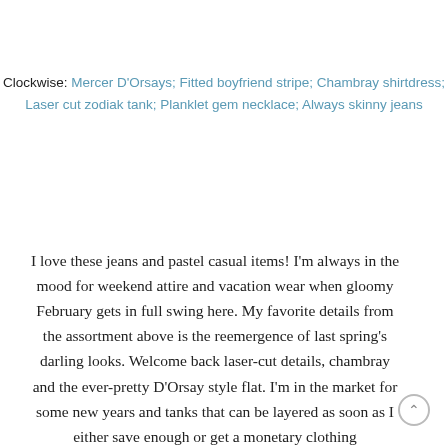Clockwise: Mercer D'Orsays; Fitted boyfriend stripe; Chambray shirtdress; Laser cut zodiak tank; Planklet gem necklace; Always skinny jeans
I love these jeans and pastel casual items! I'm always in the mood for weekend attire and vacation wear when gloomy February gets in full swing here. My favorite details from the assortment above is the reemergence of last spring's darling looks. Welcome back laser-cut details, chambray and the ever-pretty D'Orsay style flat. I'm in the market for some new years and tanks that can be layered as soon as I either save enough or get a monetary clothing